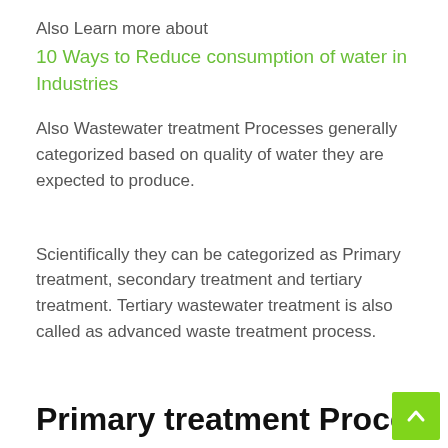Also Learn more about
10 Ways to Reduce consumption of water in Industries
Also Wastewater treatment Processes generally categorized based on quality of water they are expected to produce.
Scientifically they can be categorized as Primary treatment, secondary treatment and tertiary treatment. Tertiary wastewater treatment is also called as advanced waste treatment process.
Primary treatment Process